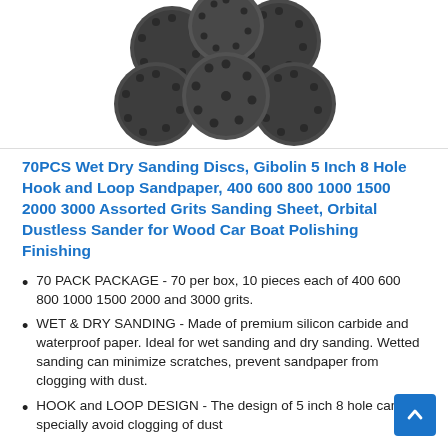[Figure (photo): Multiple dark gray circular sanding discs with holes, arranged in a cluster on white background]
70PCS Wet Dry Sanding Discs, Gibolin 5 Inch 8 Hole Hook and Loop Sandpaper, 400 600 800 1000 1500 2000 3000 Assorted Grits Sanding Sheet, Orbital Dustless Sander for Wood Car Boat Polishing Finishing
70 PACK PACKAGE - 70 per box, 10 pieces each of 400 600 800 1000 1500 2000 and 3000 grits.
WET & DRY SANDING - Made of premium silicon carbide and waterproof paper. Ideal for wet sanding and dry sanding. Wetted sanding can minimize scratches, prevent sandpaper from clogging with dust.
HOOK and LOOP DESIGN - The design of 5 inch 8 hole can specially avoid clogging of dust